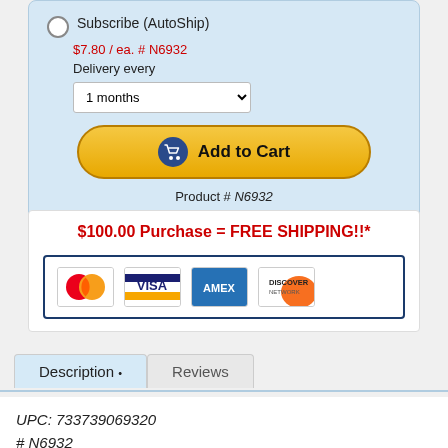Subscribe (AutoShip)
$7.80 / ea. # N6932
Delivery every
1 months
[Figure (other): Add to Cart button with shopping cart icon]
Product # N6932
$100.00 Purchase = FREE SHIPPING!!*
[Figure (other): Payment method logos: MasterCard, Visa, AMEX, Discover]
Description	Reviews
UPC: 733739069320
# N6932